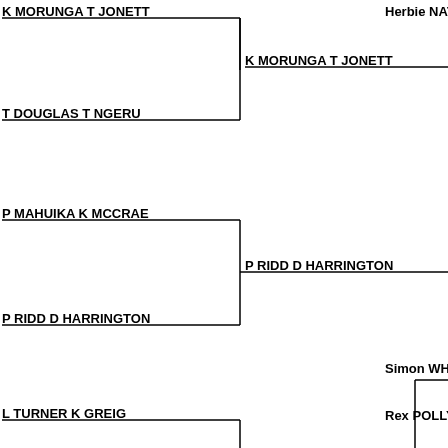[Figure (other): Tournament bracket showing pairs: K MORUNGA T JONETT defeats T DOUGLAS T NGERU, P RIDD D HARRINGTON defeats P MAHUIKA K MCCRAE, S WHITLOCK R POLLY defeats L TURNER K GREIG. K MORUNGA T JONETT advances, P RIDD D HARRINGTON advances. Right side shows Herbie NAT and Simon WH / Rex POLLY.]
Back to Top
Ladies Pairs
BEST OF 5 LEGS   BEST OF 5 LEGS   BEST OF 5
[Figure (other): Ladies Pairs tournament bracket: M MORGAN J JONATHAN defeats L SMITH C SMITH, M MORGAN J JONATHAN advances. Right side shows Dianne SH and Sharon BL.]
D SHORT S BLACK